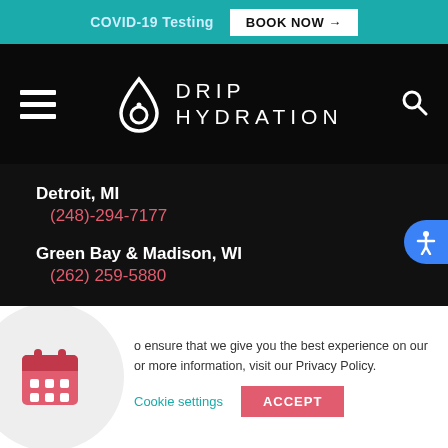COVID-19 Testing  BOOK NOW →
[Figure (logo): Drip Hydration logo with water drop icon and text 'DRIP HYDRATION' on black background with hamburger menu and search icon]
Detroit, MI
(248)-294-7177
Green Bay & Madison, WI
(262) 259-5880
Hawaii
(808) 778-3921
o ensure that we give you the best experience on our or more information, visit our Privacy Policy.
Cookie settings   ACCEPT